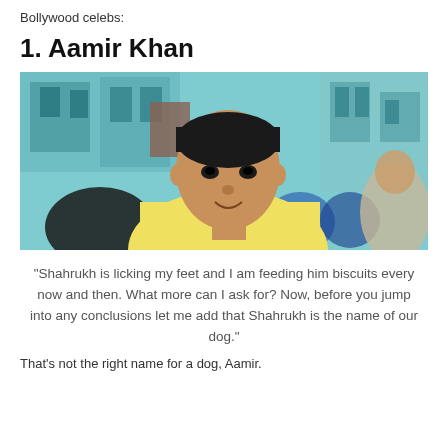Bollywood celebs:
1. Aamir Khan
[Figure (photo): A man in a yellow t-shirt standing indoors with other people in the background, teal/blue color palette]
“Shahrukh is licking my feet and I am feeding him biscuits every now and then. What more can I ask for? Now, before you jump into any conclusions let me add that Shahrukh is the name of our dog.”
That’s not the right name for a dog, Aamir.